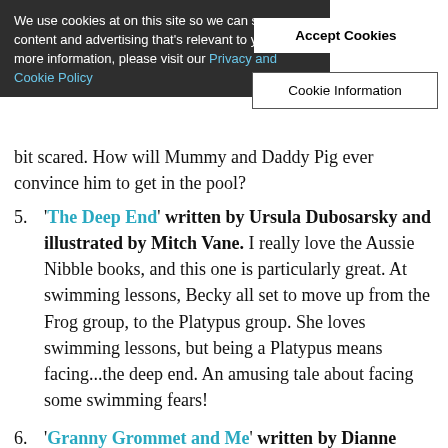[Figure (screenshot): Cookie consent banner overlay with 'Accept Cookies' and 'Cookie Information' buttons, dark semi-transparent background with white text]
Item 4 partial: text visible behind cookie banner about Peppa Pig going swimming, a bit scared. How will Mummy and Daddy Pig ever convince him to get in the pool?
5. 'The Deep End' written by Ursula Dubosarsky and illustrated by Mitch Vane. I really love the Aussie Nibble books, and this one is particularly great. At swimming lessons, Becky all set to move up from the Frog group, to the Platypus group. She loves swimming lessons, but being a Platypus means facing...the deep end. An amusing tale about facing some swimming fears!
6. 'Granny Grommet and Me' written by Dianne Wolfer and Illustrated by Karen Blair. This book has a surfing granny, so for starters it's a winner! My granny and her friends go to the beach, and I go too. When they hit the surf, they duck and dive and twist and turn. It looks like lots of fun. But I don't want